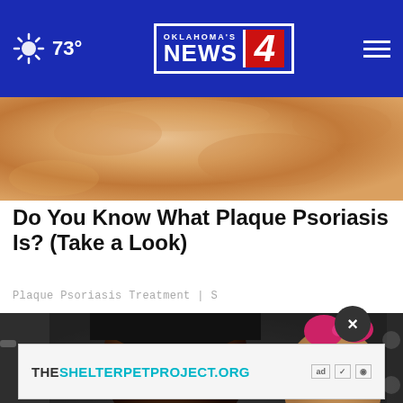Oklahoma's News 4 | 73°
[Figure (photo): Close-up photo of skin showing reddish-tan texture, related to plaque psoriasis article]
Do You Know What Plaque Psoriasis Is? (Take a Look)
Plaque Psoriasis Treatment | S
[Figure (photo): Man wearing sunglasses and black cap smiling, with a young girl with a pink bow visible over his shoulder]
[Figure (other): Advertisement banner: THESHELTERPETPROJECT.ORG with ad choice logos]